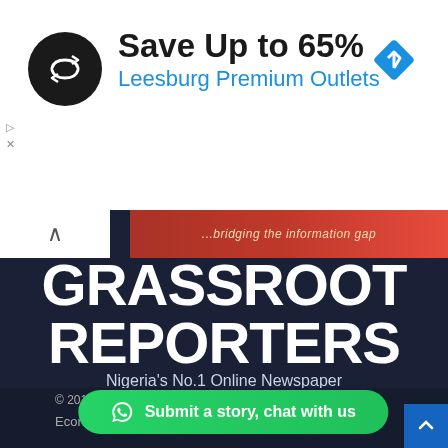[Figure (screenshot): Advertisement banner: circular black logo with double arrow symbol, text 'Save Up to 65%' in bold black, 'Leesburg Premium Outlets' in blue, and a blue diamond navigation icon on the right.]
[Figure (screenshot): Grassroot Reporters website header on dark navy background. Shows red banner with '...bridging the information gap', large white bold text 'GRASSROOT REPORTERS', subtitle 'Nigeria's No.1 Online Newspaper', and a row of 7 social media icon buttons.]
© 2019-2022 -GR
Economy
Submit a story, chat with us